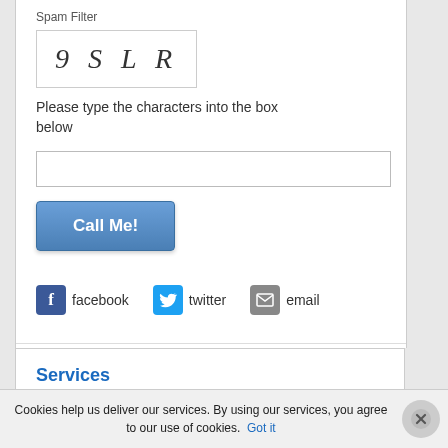Spam Filter
[Figure (other): CAPTCHA image showing characters: 9 S L R in italic serif font]
Please type the characters into the box below
Call Me!
[Figure (other): Social sharing icons row: facebook (blue), twitter (light blue), email (grey)]
Services
• Heating Services
Cookies help us deliver our services. By using our services, you agree to our use of cookies. Got it